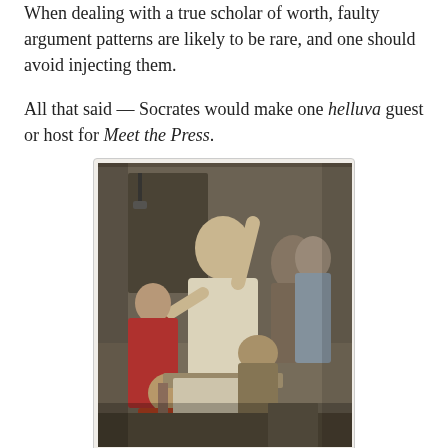When dealing with a true scholar of worth, faulty argument patterns are likely to be rare, and one should avoid injecting them.

All that said — Socrates would make one helluva guest or host for Meet the Press.
[Figure (illustration): Painting depicting the Death of Socrates — Socrates sits upright on a bed, pointing upward with one hand while reaching for a cup with the other, surrounded by grieving followers in classical robes, in the style of Jacques-Louis David's neoclassical painting.]